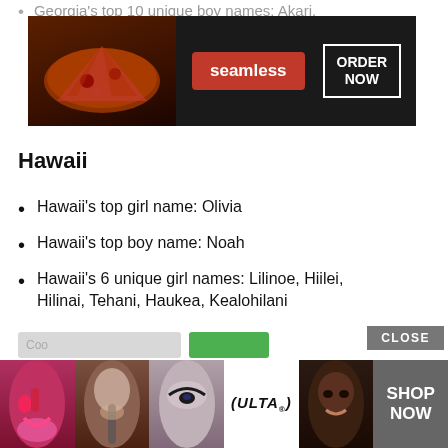Georgia's top 10 unique boy names: Akari, amir,
[Figure (screenshot): Seamless food delivery advertisement banner with pizza image, red Seamless logo button, and ORDER NOW button on dark background]
Hawaii
Hawaii's top girl name: Olivia
Hawaii's top boy name: Noah
Hawaii's 6 unique girl names: Lilinoe, Hiilei, Hilinai, Tehani, Haukea, Kealohilani
Hawaii's top 10 unique boy names: Kaimana
We use cookies on our website to give you the most relevant experience by remembering your preferences and repeat visits. By clicking “Accept”, you consent to the use of ALL the cookies.
Do not sell my personal information.
[Figure (screenshot): ULTA Beauty advertisement banner with makeup photos, ULTA logo, and SHOP NOW button on grey background, with CLOSE button]